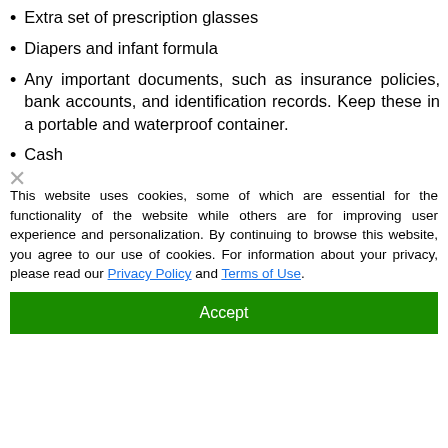Extra set of prescription glasses
Diapers and infant formula
Any important documents, such as insurance policies, bank accounts, and identification records. Keep these in a portable and waterproof container.
Cash
Extra set of clothing, including a pair of sturdy shoes
Medicine dropper and bleach for disinfection
Fire extinguisher
Feminine personal hygiene supplies
This website uses cookies, some of which are essential for the functionality of the website while others are for improving user experience and personalization. By continuing to browse this website, you agree to our use of cookies. For information about your privacy, please read our Privacy Policy and Terms of Use.